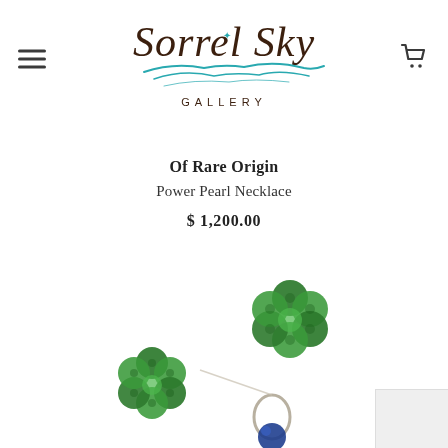[Figure (logo): Sorrel Sky Gallery logo with cursive text and decorative landscape/cloud swish underneath, text reading GALLERY below]
Of Rare Origin
Power Pearl Necklace
$ 1,200.00
[Figure (photo): Close-up photo of green beaded flower cluster jewelry pieces (necklace/earrings) with blue accent bead and metal ring connector, partially cropped at bottom of page]